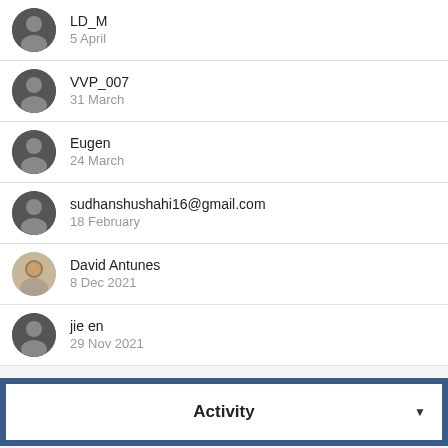LD_M
5 April
VVP_007
31 March
Eugen
24 March
sudhanshushahi16@gmail.com
18 February
David Antunes
8 Dec 2021
jie en
29 Nov 2021
Activity